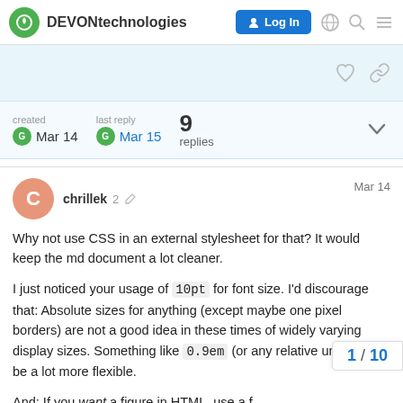DEVONtechnologies | Log In
created Mar 14  last reply Mar 15  9 replies
chrillek  2  Mar 14
Why not use CSS in an external stylesheet for that? It would keep the md document a lot cleaner.

I just noticed your usage of 10pt for font size. I'd discourage that: Absolute sizes for anything (except maybe one pixel borders) are not a good idea in these times of widely varying display sizes. Something like 0.9em (or any relative unit) would be a lot more flexible.

And: If you want a figure in HTML, use a f
1 / 10